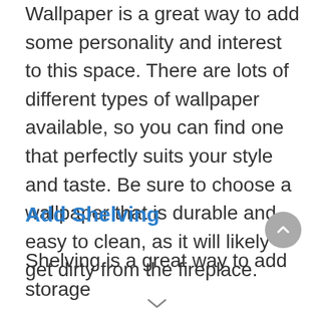Wallpaper is a great way to add some personality and interest to this space. There are lots of different types of wallpaper available, so you can find one that perfectly suits your style and taste. Be sure to choose a wallpaper that is durable and easy to clean, as it will likely get dirty from the fireplace.
Add Shelving
Shelving is a great way to add storage